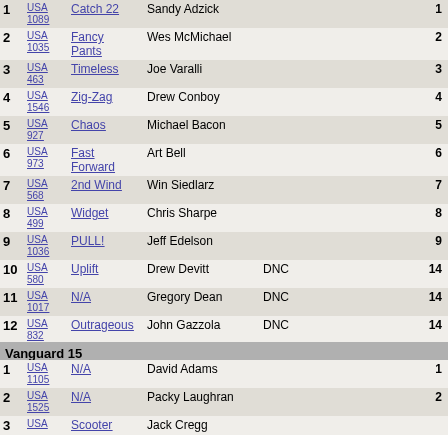| # | Sail | Boat | Skipper |  | Pts |
| --- | --- | --- | --- | --- | --- |
| 1 | USA 1089 | Catch 22 | Sandy Adzick |  | 1 |
| 2 | USA 1035 | Fancy Pants | Wes McMichael |  | 2 |
| 3 | USA 463 | Timeless | Joe Varalli |  | 3 |
| 4 | USA 1546 | Zig-Zag | Drew Conboy |  | 4 |
| 5 | USA 927 | Chaos | Michael Bacon |  | 5 |
| 6 | USA 973 | Fast Forward | Art Bell |  | 6 |
| 7 | USA 568 | 2nd Wind | Win Siedlarz |  | 7 |
| 8 | USA 499 | Widget | Chris Sharpe |  | 8 |
| 9 | USA 1036 | PULL! | Jeff Edelson |  | 9 |
| 10 | USA 580 | Uplift | Drew Devitt | DNC | 14 |
| 11 | USA 1017 | N/A | Gregory Dean | DNC | 14 |
| 12 | USA 832 | Outrageous | John Gazzola | DNC | 14 |
| 13 | USA 1646 | Wait Up! | Christine Faris | DNC | 14 |
Vanguard 15
| # | Sail | Boat | Skipper |  | Pts |
| --- | --- | --- | --- | --- | --- |
| 1 | USA 1105 | N/A | David Adams |  | 1 |
| 2 | USA 1525 | N/A | Packy Laughran |  | 2 |
| 3 | USA | Scooter | Jack Cregg |  |  |